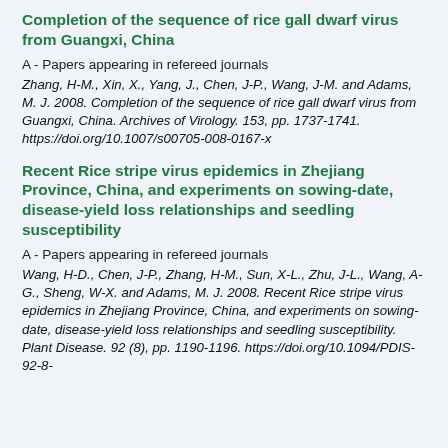Completion of the sequence of rice gall dwarf virus from Guangxi, China
A - Papers appearing in refereed journals
Zhang, H-M., Xin, X., Yang, J., Chen, J-P., Wang, J-M. and Adams, M. J. 2008. Completion of the sequence of rice gall dwarf virus from Guangxi, China. Archives of Virology. 153, pp. 1737-1741. https://doi.org/10.1007/s00705-008-0167-x
Recent Rice stripe virus epidemics in Zhejiang Province, China, and experiments on sowing-date, disease-yield loss relationships and seedling susceptibility
A - Papers appearing in refereed journals
Wang, H-D., Chen, J-P., Zhang, H-M., Sun, X-L., Zhu, J-L., Wang, A-G., Sheng, W-X. and Adams, M. J. 2008. Recent Rice stripe virus epidemics in Zhejiang Province, China, and experiments on sowing-date, disease-yield loss relationships and seedling susceptibility. Plant Disease. 92 (8), pp. 1190-1196. https://doi.org/10.1094/PDIS-92-8-